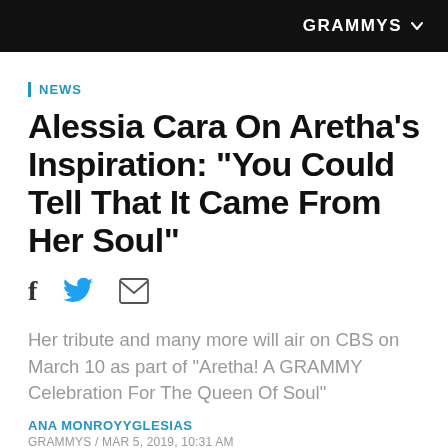GRAMMYS
NEWS
Alessia Cara On Aretha's Inspiration: "You Could Tell That It Came From Her Soul"
Her tribute and many more will air on CBS on March 10 as part of "Aretha! A GRAMMY Celebration For The Queen Of Soul"
ANA MONROYYGLESIAS
GRAMMYS / MAR 5, 2019, 10:31 AM